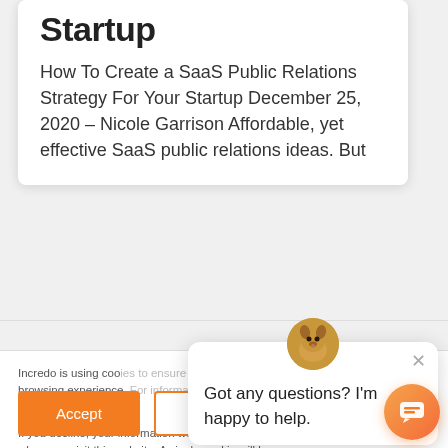Startup
How To Create a SaaS Public Relations Strategy For Your Startup December 25, 2020 – Nicole Garrison Affordable, yet effective SaaS public relations ideas. But
Incredo is using cookies to ensure you get a solid browsing experience. For information about cookies we use, see
If you decline, your information won't be tracked when you visit this website. A single cookie will be used in your browser to remember your preference not to be tracked.
Got any questions? I'm happy to help.